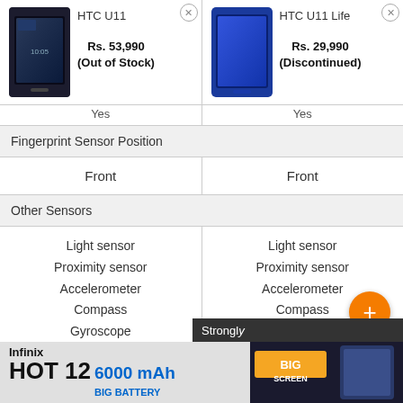[Figure (screenshot): Product comparison page for HTC U11 and HTC U11 Life showing specs including Fingerprint Sensor Position and Other Sensors]
| HTC U11 | HTC U11 Life |
| --- | --- |
| Rs. 53,990 (Out of Stock) | Rs. 29,990 (Discontinued) |
| Yes | Yes |
| Fingerprint Sensor Position |  |
| Front | Front |
| Other Sensors |  |
| Light sensor
Proximity sensor
Accelerometer
Compass
Gyroscope | Light sensor
Proximity sensor
Accelerometer
Compass
Gyroscope |
[Figure (infographic): Infinix HOT 12 advertisement banner: 6000 mAh Big Battery, Big Screen]